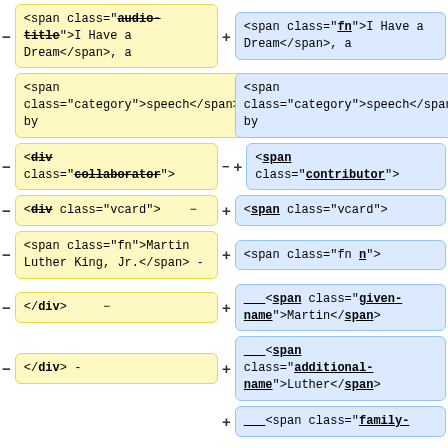[Figure (other): Diff view showing HTML code changes side by side. Left column shows removed (yellow) cells with minus markers, right column shows added (blue) cells with plus markers. Changes show HTML class renaming: audio-title to fn, collaborator to contributor, div to span for collaborator/vcard, fn to fn n, and additional markup for given-name, additional-name, family-name spans for Martin Luther King Jr.]